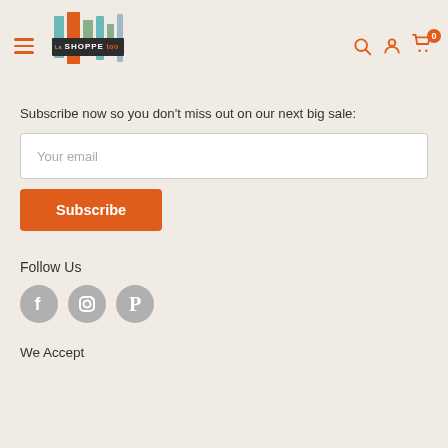[Figure (logo): La Shoppe Too logo with vertical colored bars (teal, orange, sage, gray-blue) and dark background text label]
Subscribe now so you don't miss out on our next big sale:
Your email
Subscribe
Follow Us
[Figure (illustration): Three social media icons: Facebook (f), Instagram (camera), Pinterest (P) — gray circular buttons]
We Accept